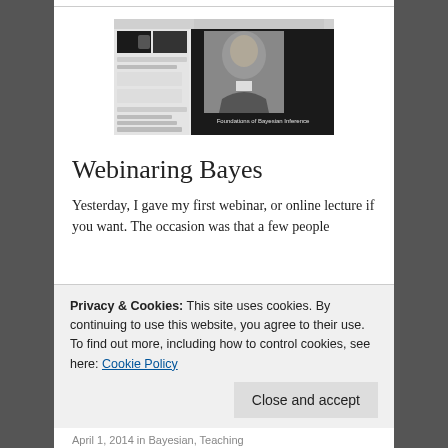[Figure (screenshot): Screenshot of a webinar interface showing a video conference with a portrait of Thomas Bayes and the text 'Foundations of Bayesian Inference' displayed on a slide.]
Webinaring Bayes
Yesterday, I gave my first webinar, or online lecture if you want. The occasion was that a few people
Privacy & Cookies: This site uses cookies. By continuing to use this website, you agree to their use.
To find out more, including how to control cookies, see here: Cookie Policy
Close and accept
April 1, 2014 in Bayesian, Teaching